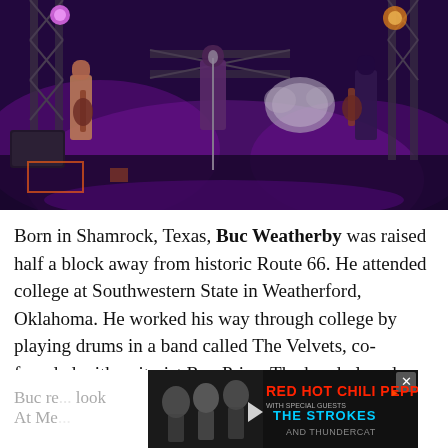[Figure (photo): Band performing on stage with purple/pink lighting. Multiple musicians visible including guitarist, singer at microphone, and drummer. Stage trusses and equipment visible in background.]
Born in Shamrock, Texas, Buc Weatherby was raised half a block away from historic Route 66. He attended college at Southwestern State in Weatherford, Oklahoma. He worked his way through college by playing drums in a band called The Velvets, co-founded with guitarist Ray Price. The band played clubs and military bases all over Oklahoma and Texas.
Buc re... look At Me...